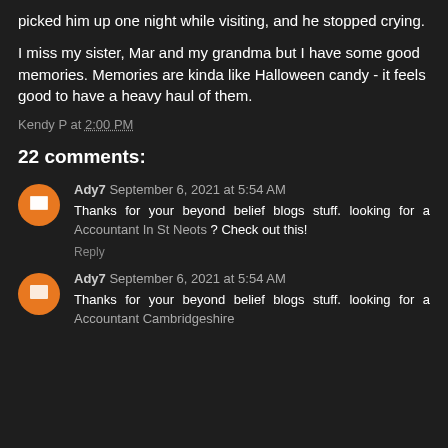picked him up one night while visiting, and he stopped crying.
I miss my sister, Mar and my grandma but I have some good memories. Memories are kinda like Halloween candy - it feels good to have a heavy haul of them.
Kendy P at 2:00 PM
22 comments:
Ady7 September 6, 2021 at 5:54 AM
Thanks for your beyond belief blogs stuff. looking for a Accountant In St Neots ? Check out this!
Reply
Ady7 September 6, 2021 at 5:54 AM
Thanks for your beyond belief blogs stuff. looking for a Accountant Cambridgeshire